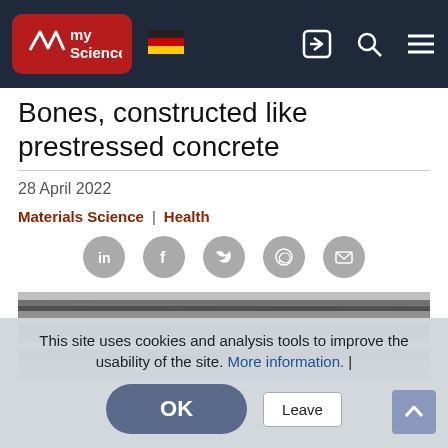myScience
Bones, constructed like prestressed concrete
28 April 2022
Materials Science  |  Health
[Figure (photo): Microscopic cross-section image of bone structure, grayscale, showing layered fibrous texture similar to prestressed concrete]
This site uses cookies and analysis tools to improve the usability of the site. More information. |